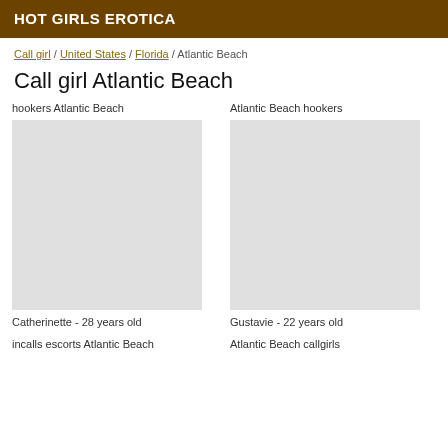HOT GIRLS EROTICA
Call girl / United States / Florida / Atlantic Beach
Call girl Atlantic Beach
hookers Atlantic Beach
Atlantic Beach hookers
Catherinette - 28 years old
Gustavie - 22 years old
incalls escorts Atlantic Beach
Atlantic Beach callgirls